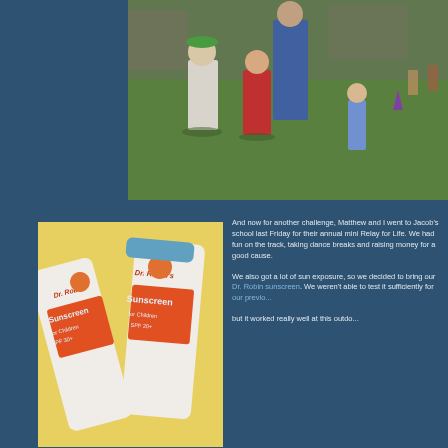[Figure (photo): Outdoor photo of children and an adult at a school event on a grass field, with a boy in a white t-shirt and green cap holding a water bottle, another boy in a red shirt, an adult in a blue shirt, and a small child in the background. Purple cones and flags visible on the green grass.]
[Figure (photo): Close-up photo of two tubes of Dr. Robin Sunscreen for Children SPF 30+ lying on a yellow surface.]
And now for another challenge, Matthew and I went to Jacob's school last Friday for their annual mini Relay for Life. We had fun on the track, taking dance breaks and raising money for a good cause.

We also got a lot of sun exposure, so we decided to bring our Dr. Robin sunscreen. We weren't able to test it sufficiently for our previous review, but it worked really well at this outdoor event.